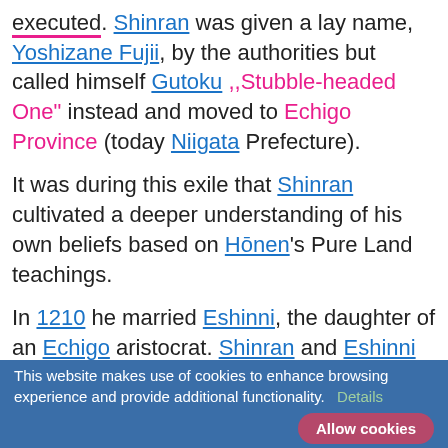executed. Shinran was given a lay name, Yoshizane Fujii, by the authorities but called himself Gutoku ,,Stubble-headed One" instead and moved to Echigo Province (today Niigata Prefecture).
It was during this exile that Shinran cultivated a deeper understanding of his own beliefs based on Hōnen's Pure Land teachings.
In 1210 he married Eshinni, the daughter of an Echigo aristocrat. Shinran and Eshinni had several children.
His eldest son, Zenran, was alleged to have started a heretical sect of Pure Land Buddhism through claims
This website makes use of cookies to enhance browsing experience and provide additional functionality. Details Allow cookies